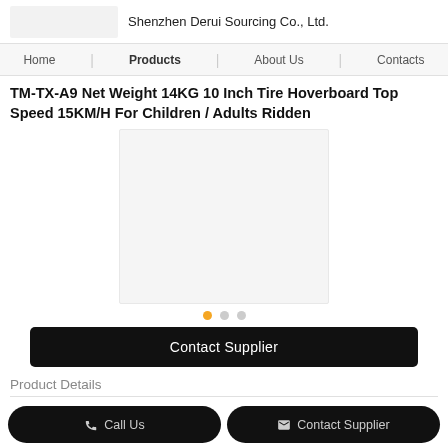Shenzhen Derui Sourcing Co., Ltd.
Home | Products | About Us | Contacts
TM-TX-A9 Net Weight 14KG 10 Inch Tire Hoverboard Top Speed 15KM/H For Children / Adults Ridden
[Figure (photo): Product image placeholder - light gray rectangle representing hoverboard product photo]
Contact Supplier
Product Details
Call Us  Contact Supplier